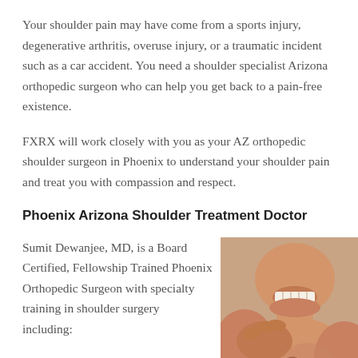Your shoulder pain may have come from a sports injury, degenerative arthritis, overuse injury, or a traumatic incident such as a car accident. You need a shoulder specialist Arizona orthopedic surgeon who can help you get back to a pain-free existence.
FXRX will work closely with you as your AZ orthopedic shoulder surgeon in Phoenix to understand your shoulder pain and treat you with compassion and respect.
Phoenix Arizona Shoulder Treatment Doctor
Sumit Dewanjee, MD, is a Board Certified, Fellowship Trained Phoenix Orthopedic Surgeon with specialty training in shoulder surgery including:
[Figure (photo): Photo of a shirtless man grimacing in pain and holding his shoulder]